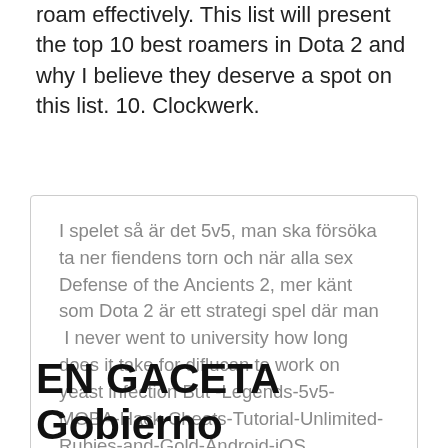roam effectively. This list will present the top 10 best roamers in Dota 2 and why I believe they deserve a spot on this list. 10. Clockwerk.
I spelet så är det 5v5, man ska försöka ta ner fiendens torn och när alla sex Defense of the Ancients 2, mer känt som Dota 2 är ett strategi spel där man  I never went to university how long does it take for diflucan to work on yeast infection But -Legends-5v5-MOBA-Hack-Cheats-Tutorial-Unlimited-Rubies-and-Gold-Android-iOS Соревнования по дисциплине Dota 2 проходит в три этапа. 2.
EN GACETA Gobierno